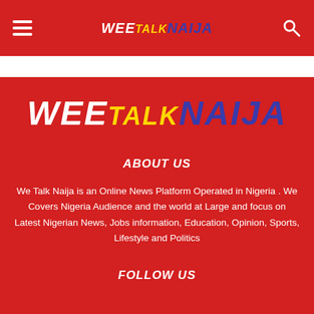WeeTalkNaija - navigation header with hamburger menu and search icon
[Figure (logo): WeeTalkNaija logo large on red background]
ABOUT US
We Talk Naija is an Online News Platform Operated in Nigeria . We Covers Nigeria Audience and the world at Large and focus on Latest Nigerian News, Jobs information, Education, Opinion, Sports, Lifestyle and Politics
FOLLOW US